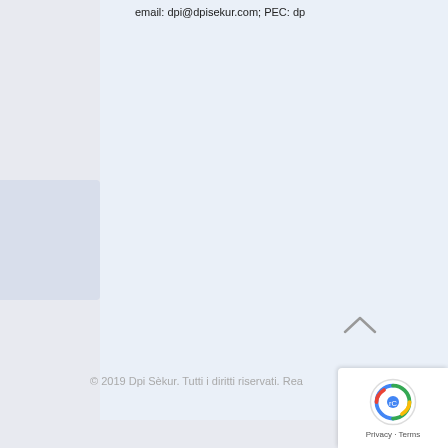email: dpi@dpisekur.com; PEC: dp
© 2019 Dpi Sèkur. Tutti i diritti riservati. Rea